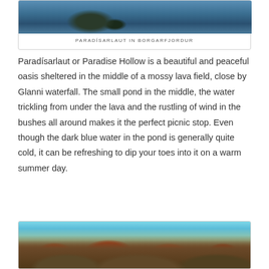[Figure (photo): Top portion of a photo of Paradísarlaut in Borgarfjordur showing dark blue water with rocky formations]
PARADÍSARLAUT IN BORGARFJORDUR
Paradísarlaut or Paradise Hollow is a beautiful and peaceful oasis sheltered in the middle of a mossy lava field, close by Glanni waterfall. The small pond in the middle, the water trickling from under the lava and the rustling of wind in the bushes all around makes it the perfect picnic stop. Even though the dark blue water in the pond is generally quite cold, it can be refreshing to dip your toes into it on a warm summer day.
[Figure (photo): Bottom portion showing a rocky lava field hillside with orange and red autumn foliage against a blue sky]